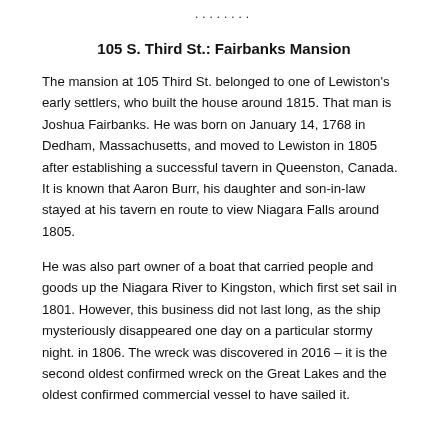........
105 S. Third St.: Fairbanks Mansion
The mansion at 105 Third St. belonged to one of Lewiston's early settlers, who built the house around 1815. That man is Joshua Fairbanks. He was born on January 14, 1768 in Dedham, Massachusetts, and moved to Lewiston in 1805 after establishing a successful tavern in Queenston, Canada. It is known that Aaron Burr, his daughter and son-in-law stayed at his tavern en route to view Niagara Falls around 1805.
He was also part owner of a boat that carried people and goods up the Niagara River to Kingston, which first set sail in 1801. However, this business did not last long, as the ship mysteriously disappeared one day on a particular stormy night. in 1806. The wreck was discovered in 2016 – it is the second oldest confirmed wreck on the Great Lakes and the oldest confirmed commercial vessel to have sailed it.